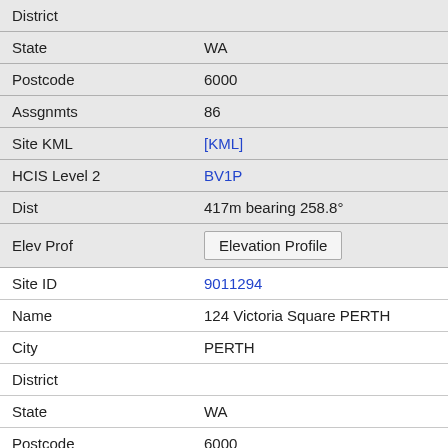| Field | Value |
| --- | --- |
| District |  |
| State | WA |
| Postcode | 6000 |
| Assgnmts | 86 |
| Site KML | [KML] |
| HCIS Level 2 | BV1P |
| Dist | 417m bearing 258.8° |
| Elev Prof | Elevation Profile |
| Site ID | 9011294 |
| Name | 124 Victoria Square PERTH |
| City | PERTH |
| District |  |
| State | WA |
| Postcode | 6000 |
| Assgnmts |  |
| Site KML | [KML] |
| HCIS Level 2 | BV1P |